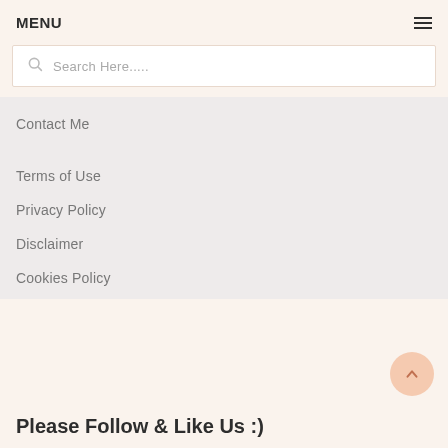MENU
Search Here.....
Contact Me
Terms of Use
Privacy Policy
Disclaimer
Cookies Policy
Please Follow & Like Us :)